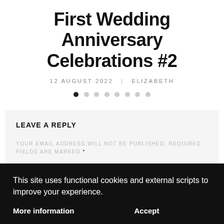First Wedding Anniversary Celebrations #2
12 AUGUST 2022   ELIZABETH
[Figure (other): Carousel dot navigation: 8 dots, first dot filled/active, rest grey]
LEAVE A REPLY
YOUR EMAIL ADDRESS WILL NOT BE PUBLISHED. REQUIRED FIELDS ARE MARKED *
This site uses functional cookies and external scripts to improve your experience.
More information   Accept